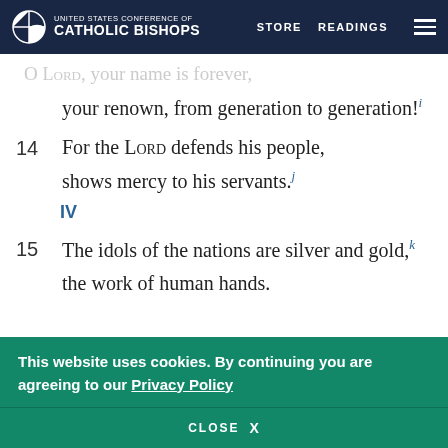United States Conference of Catholic Bishops | STORE | READINGS
O Lord, your name is forever,
your renown, from generation to generation!
14  For the LORD defends his people,
shows mercy to his servants.
IV
15  The idols of the nations are silver and gold,
the work of human hands.
This website uses cookies. By continuing you are agreeing to our Privacy Policy
CLOSE  X